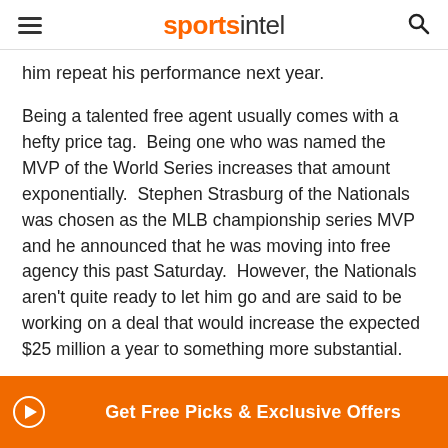sportsintel
him repeat his performance next year.
Being a talented free agent usually comes with a hefty price tag.  Being one who was named the MVP of the World Series increases that amount exponentially.  Stephen Strasburg of the Nationals was chosen as the MLB championship series MVP and he announced that he was moving into free agency this past Saturday.  However, the Nationals aren't quite ready to let him go and are said to be working on a deal that would increase the expected $25 million a year to something more substantial.
The MLB is moving toward an artificial game.  While there isn't the latest technology, e,
Get Free Picks & Exclusive Offers